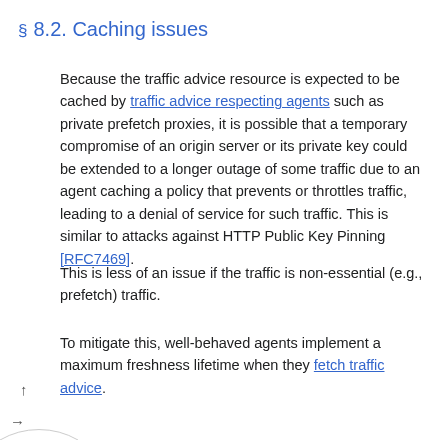§ 8.2. Caching issues
Because the traffic advice resource is expected to be cached by traffic advice respecting agents such as private prefetch proxies, it is possible that a temporary compromise of an origin server or its private key could be extended to a longer outage of some traffic due to an agent caching a policy that prevents or throttles traffic, leading to a denial of service for such traffic. This is similar to attacks against HTTP Public Key Pinning [RFC7469].
This is less of an issue if the traffic is non-essential (e.g., prefetch) traffic.
To mitigate this, well-behaved agents implement a maximum freshness lifetime when they fetch traffic advice.